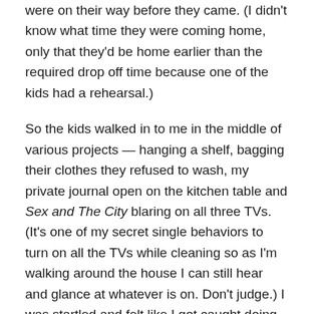were on their way before they came. (I didn't know what time they were coming home, only that they'd be home earlier than the required drop off time because one of the kids had a rehearsal.)
So the kids walked in to me in the middle of various projects — hanging a shelf, bagging their clothes they refused to wash, my private journal open on the kitchen table and Sex and The City blaring on all three TVs. (It's one of my secret single behaviors to turn on all the TVs while cleaning so as I'm walking around the house I can still hear and glance at whatever is on. Don't judge.) I was startled and felt like I got caught doing something wrong.
Turns out, I apparently had done something wrong.
My cleaning and organizing efforts were rewarded with a